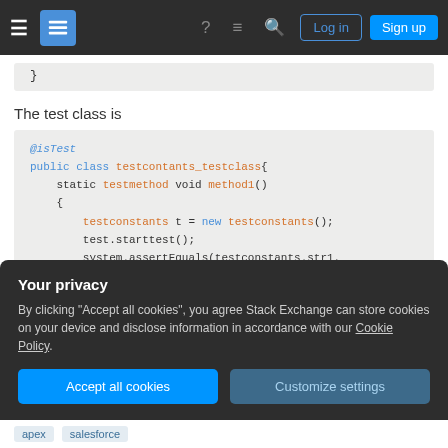Stack Exchange navigation bar with Log in and Sign up buttons
[Figure (screenshot): Partial code snippet showing closing brace of a previous code block]
The test class is
[Figure (screenshot): Code block showing Salesforce Apex test class: @isTest public class testcontants_testclass{ static testmethod void method1() { testconstants t = new testconstants(); test.starttest(); system.assertEquals(testconstants.str1, test.stoptest(); }]
Your privacy
By clicking "Accept all cookies", you agree Stack Exchange can store cookies on your device and disclose information in accordance with our Cookie Policy.
Accept all cookies   Customize settings